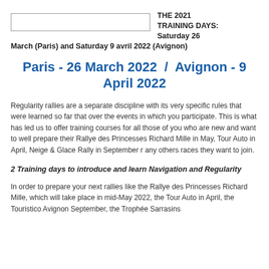THE 2021 TRAINING DAYS: Saturday 26 March (Paris) and Saturday 9 avril 2022 (Avignon)
Paris - 26 March 2022  /  Avignon - 9 April 2022
Regularity rallies are a separate discipline with its very specific rules that were learned so far that over the events in which you participate. This is what has led us to offer training courses for all those of you who are new and want to well prepare their Rallye des Princesses Richard Mille in May, Tour Auto in April, Neige & Glace Rally in September r any others races they want to join.
2 Training days to introduce and learn Navigation and Regularity
In order to prepare your next rallies like the Rallye des Princesses Richard Mille, which will take place in mid-May 2022, the Tour Auto in April, the Touristico Avignon September, the Trophée Sarrasins...